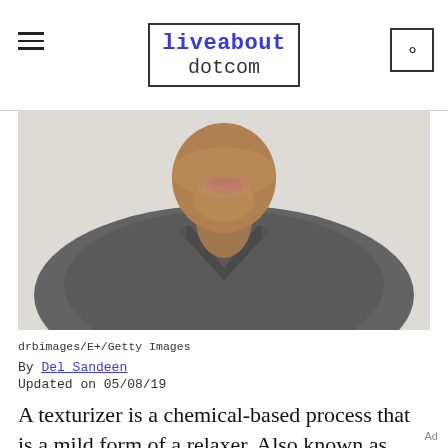liveabout dotcom
[Figure (photo): Close-up of a Black woman from chin to chest, wearing a grey V-neck sweater, smiling, on a light grey background]
drbimages/E+/Getty Images
By Del Sandeen
Updated on 05/08/19
A texturizer is a chemical-based process that is a mild form of a relaxer. Also known as texture softener, it is a popular option for Black hair